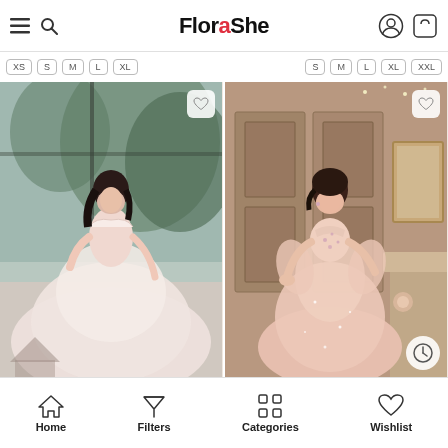FloraShe - navigation header with menu, search, account and cart icons
XS S M L XL | S M L XL XXL
[Figure (photo): A woman in a pink off-shoulder ball gown wedding/prom dress standing near a window with greenery in the background]
[Figure (photo): A woman in a pink high-neck embellished A-line evening dress with flowy sleeves, standing in an elegant interior setting]
Home | Filters | Categories | Wishlist